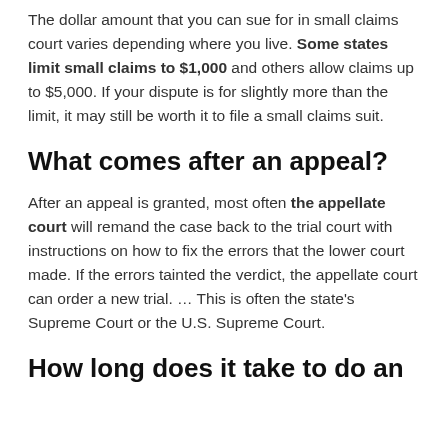The dollar amount that you can sue for in small claims court varies depending where you live. Some states limit small claims to $1,000 and others allow claims up to $5,000. If your dispute is for slightly more than the limit, it may still be worth it to file a small claims suit.
What comes after an appeal?
After an appeal is granted, most often the appellate court will remand the case back to the trial court with instructions on how to fix the errors that the lower court made. If the errors tainted the verdict, the appellate court can order a new trial. … This is often the state's Supreme Court or the U.S. Supreme Court.
How long does it take to do an